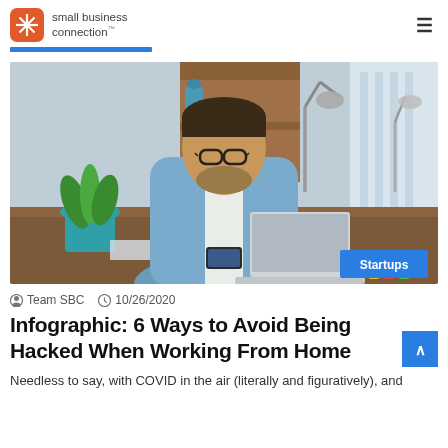small business connection
[Figure (photo): Man with glasses wearing a light blue denim shirt, sitting at a desk looking at a smartphone, with a laptop, plant, coffee mug, and desk lamp in the background. Tag reads 'Startups'.]
Team SBC  10/26/2020
Infographic: 6 Ways to Avoid Being Hacked When Working From Home
Needless to say, with COVID in the air (literally and figuratively), and